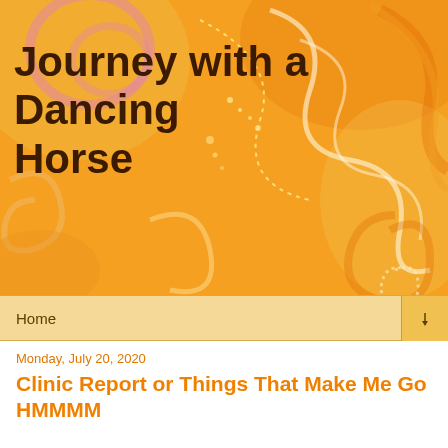Journey with a Dancing Horse
Home
Monday, July 20, 2020
Clinic Report or Things That Make Me Go HMMMM
Last weekend I loaded up my trailer and Carmen and I headed off to a Trail Clinic with Mike and Nikki Porter. I've done one of these every year and LOVED them. Each time I go I leave with some new insights and confidence.
This time was going to be special because my two amazing friends, Paula and Karen, were also coming. I was looking forward to getting some insight into Carmen and what was